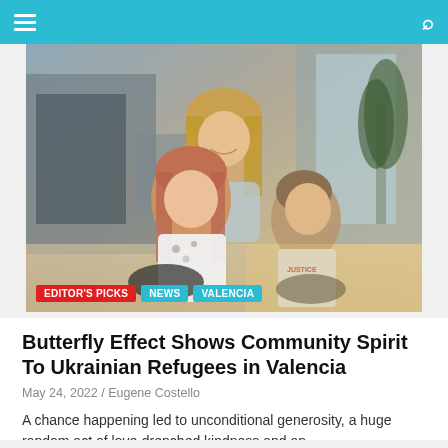Navigation header with hamburger menu and search icon
[Figure (photo): A woman with blonde hair smiling behind two children — a girl with reddish-pink hair wearing a white patterned t-shirt and a boy in a Justice shirt looking upward — seated in what appears to be a cafe or restaurant outdoor area. Tags overlay at bottom: EDITOR'S PICKS, NEWS, VALENCIA.]
Butterfly Effect Shows Community Spirit To Ukrainian Refugees in Valencia
May 24, 2022 / Eugene Costello
A chance happening led to unconditional generosity, a huge random act of love-drenched kindness and an...